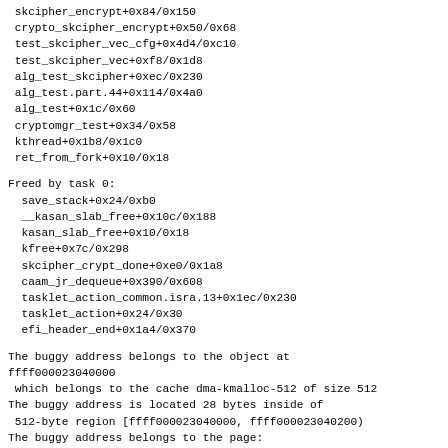skcipher_encrypt+0x84/0x150
crypto_skcipher_encrypt+0x50/0x68
test_skcipher_vec_cfg+0x4d4/0xc10
test_skcipher_vec+0xf8/0x1d8
alg_test_skcipher+0xec/0x230
alg_test.part.44+0x114/0x4a0
alg_test+0x1c/0x60
cryptomgr_test+0x34/0x58
kthread+0x1b8/0x1c0
ret_from_fork+0x10/0x18
Freed by task 0:
 save_stack+0x24/0xb0
 __kasan_slab_free+0x10c/0x188
 kasan_slab_free+0x10/0x18
 kfree+0x7c/0x298
 skcipher_crypt_done+0xe0/0x1a8
 caam_jr_dequeue+0x390/0x608
 tasklet_action_common.isra.13+0x1ec/0x230
 tasklet_action+0x24/0x30
 efi_header_end+0x1a4/0x370
The buggy address belongs to the object at
ffff000023040000
 which belongs to the cache dma-kmalloc-512 of size 512
The buggy address is located 28 bytes inside of
 512-byte region [ffff000023040000, ffff000023040200)
The buggy address belongs to the page:
page:fffffe00006c1000 refcount:1 mapcount:0
mapping:ffff00093200c400 index:0x0 compound_mapcount: 0